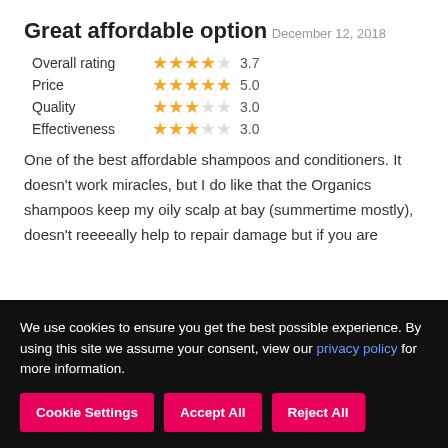Great affordable option
December 12, 2018
| Category | Stars | Score |
| --- | --- | --- |
| Overall rating | ★★★★☆ | 3.7 |
| Price | ★★★★★ | 5.0 |
| Quality | ★★★☆☆ | 3.0 |
| Effectiveness | ★★★☆☆ | 3.0 |
One of the best affordable shampoos and conditioners. It doesn't work miracles, but I do like that the Organics shampoos keep my oily scalp at bay (summertime mostly), doesn't reeeeally help to repair damage but if you are looking for an affordable...
We use cookies to ensure you get the best possible experience. By using this site we assume your consent, view our privacy policy for more information.